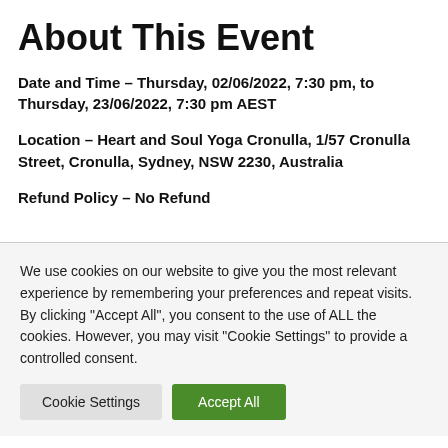About This Event
Date and Time – Thursday, 02/06/2022, 7:30 pm, to Thursday, 23/06/2022, 7:30 pm AEST
Location – Heart and Soul Yoga Cronulla, 1/57 Cronulla Street, Cronulla, Sydney, NSW 2230, Australia
Refund Policy – No Refund
We use cookies on our website to give you the most relevant experience by remembering your preferences and repeat visits. By clicking "Accept All", you consent to the use of ALL the cookies. However, you may visit "Cookie Settings" to provide a controlled consent.